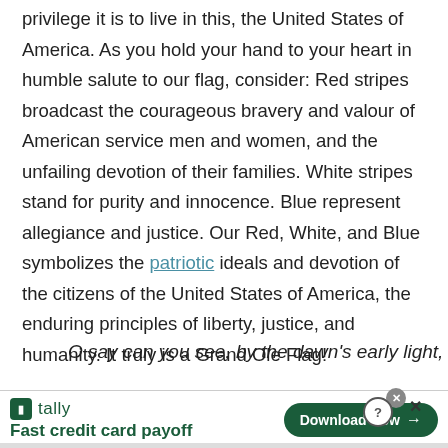privilege it is to live in this, the United States of America. As you hold your hand to your heart in humble salute to our flag, consider: Red stripes broadcast the courageous bravery and valour of American service men and women, and the unfailing devotion of their families. White stripes stand for purity and innocence. Blue represent allegiance and justice. Our Red, White, and Blue symbolizes the patriotic ideals and devotion of the citizens of the United States of America, the enduring principles of liberty, justice, and humanity. It truly is a Grand Ole Flag!
O say can you see, by the dawn's early light,
[Figure (other): Advertisement banner for Tally app - Fast credit card payoff with Download Now button]